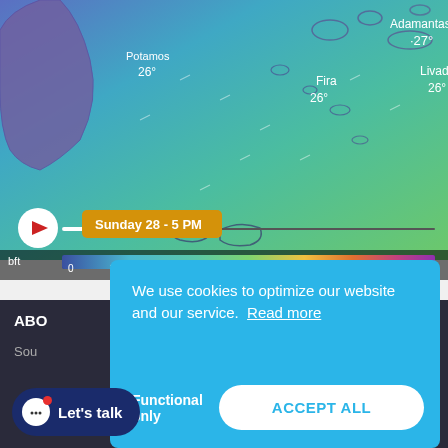[Figure (map): Weather wind map showing Greek islands (Aegean Sea) with temperature labels: Adamantas 27°, Fira 26°, Livadi 26°, Potamos 26°. Color scale from blue (calm) to green/red (strong wind) in Beaufort scale (bft 0-11). Playback bar shows Sunday 28 - 5 PM.]
We use cookies to optimize our website and our service. Read more
Functional only
ACCEPT ALL
Let's talk
ABO
Sou